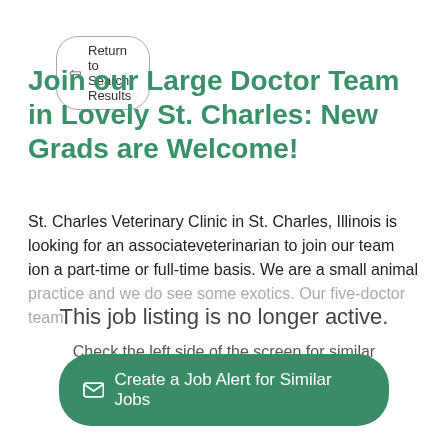← Return to Search Results
Join our Large Doctor Team in Lovely St. Charles: New Grads are Welcome!
St. Charles Veterinary Clinic in St. Charles, Illinois is looking for an associateveterinarian to join our team ion a part-time or full-time basis. We are a small animal practice and we do see some exotics. Our five-doctor team
This job listing is no longer active.
Check the left side of the screen for similar opportunities.
✉ Create a Job Alert for Similar Jobs